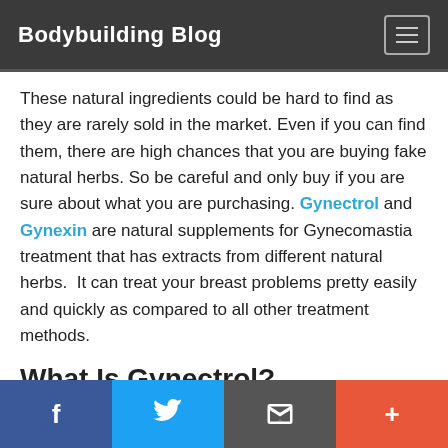Bodybuilding Blog
These natural ingredients could be hard to find as they are rarely sold in the market. Even if you can find them, there are high chances that you are buying fake natural herbs. So be careful and only buy if you are sure about what you are purchasing. Gynectrol and Gynexin are natural supplements for Gynecomastia treatment that has extracts from different natural herbs.  It can treat your breast problems pretty easily and quickly as compared to all other treatment methods.
What Is Gynectrol?
Gynectrol is a strictly natural gynecomastia cure…
f  [twitter]  [email]  +